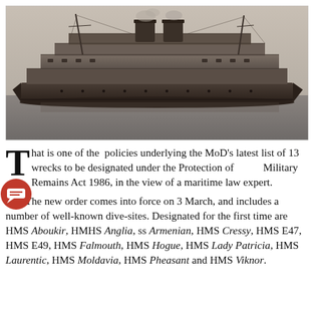[Figure (photo): Sepia-toned historical photograph of a large ocean liner or troop ship viewed from the side, on calm water. The ship has two smokestacks and multiple masts, with extensive superstructure decking.]
That is one of the policies underlying the MoD's latest list of 13 wrecks to be designated under the Protection of Military Remains Act 1986, in the view of a maritime law expert. The new order comes into force on 3 March, and includes a number of well-known dive-sites. Designated for the first time are HMS Aboukir, HMHS Anglia, ss Armenian, HMS Cressy, HMS E47, HMS E49, HMS Falmouth, HMS Hogue, HMS Lady Patricia, HMS Laurentic, HMS Moldavia, HMS Pheasant and HMS Viknor.